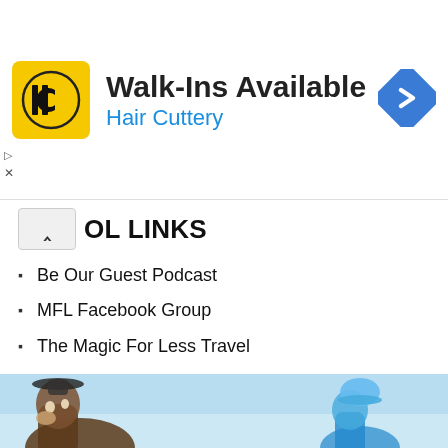[Figure (advertisement): Hair Cuttery ad banner with yellow HC logo, 'Walk-Ins Available' headline, 'Hair Cuttery' subtitle in blue, and blue navigation diamond icon on the right]
OL LINKS
Be Our Guest Podcast
MFL Facebook Group
The Magic For Less Travel
YouTube
THEMOUSEFORLESS.COM
Disney Cruise Line
Disneyland
Walt Disney World
[Figure (illustration): Partial view of animated Disney characters (Goofy on left, another character on right) on a light blue sky background]